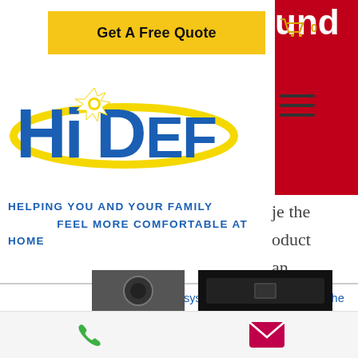[Figure (screenshot): Website header with yellow Get A Free Quote button, shopping cart icon with 0, red banner on right showing partial text 'und']
[Figure (logo): HiDef company logo in blue and yellow with starburst graphic]
HELPING YOU AND YOUR FAMILY FEEL MORE COMFORTABLE AT HOME
audio tuned system, or maybe you want the best quality video but you are not an audiophile? We listen to your needs and respect your preferences.
[Figure (screenshot): Partial product images at bottom of page, and footer bar with phone and email icons]